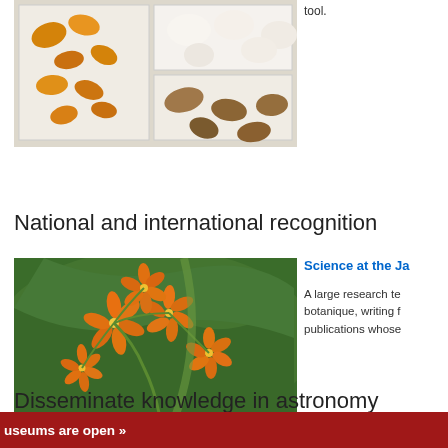tool.
[Figure (photo): Close-up photo of specimens in a white box tray, including orange/yellow dried specimens and white egg-like objects]
National and international recognition
[Figure (photo): Close-up photograph of orange star-shaped flowers (milkweed or similar) with green leaves in background]
Science at the Ja
A large research te botanique, writing f publications whose
Disseminate knowledge in astronomy
useums are open »